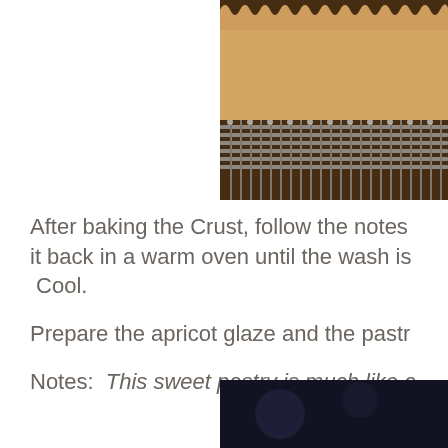[Figure (photo): Close-up photo of a baked pastry crust on a wire cooling rack, showing golden-brown fluted edges at the top of the frame on a dark background.]
After baking the Crust, follow the notes it back in a warm oven until the wash is Cool.
Prepare the apricot glaze and the pastr
Notes:  This sweet pastry is much like a
[Figure (photo): Bottom partial photo showing a dark background, beginning of another food photograph.]